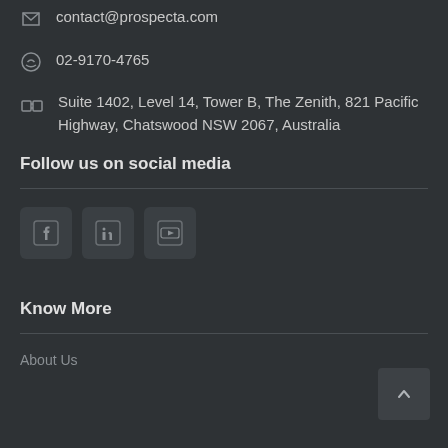contact@prospecta.com
02-9170-4765
Suite 1402, Level 14, Tower B, The Zenith, 821 Pacific Highway, Chatswood NSW 2067, Australia
Follow us on social media
[Figure (illustration): Social media icons: Facebook, LinkedIn, YouTube]
Know More
About Us